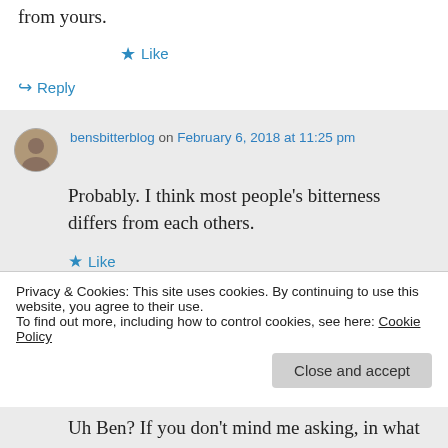from yours.
★ Like
↪ Reply
bensbitterblog on February 6, 2018 at 11:25 pm
Probably. I think most people's bitterness differs from each others.
★ Like
Privacy & Cookies: This site uses cookies. By continuing to use this website, you agree to their use.
To find out more, including how to control cookies, see here: Cookie Policy
Close and accept
Uh Ben? If you don't mind me asking, in what